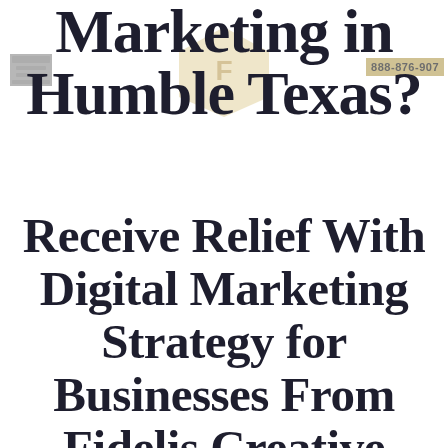Marketing in Humble Texas?
Receive Relief With Digital Marketing Strategy for Businesses From Fidelis Creative Agency!